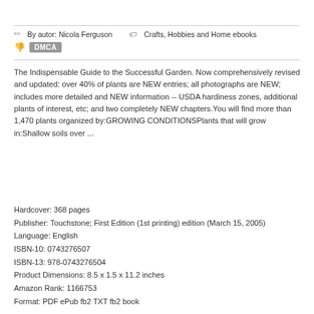By autor: Nicola Ferguson   Crafts, Hobbies and Home ebooks
DMCA
The Indispensable Guide to the Successful Garden. Now comprehensively revised and updated: over 40% of plants are NEW entries; all photographs are NEW; includes more detailed and NEW information -- USDA hardiness zones, additional plants of interest, etc; and two completely NEW chapters.You will find more than 1,470 plants organized by:GROWING CONDITIONSPlants that will grow in:Shallow soils over ...
Hardcover: 368 pages
Publisher: Touchstone; First Edition (1st printing) edition (March 15, 2005)
Language: English
ISBN-10: 0743276507
ISBN-13: 978-0743276504
Product Dimensions: 8.5 x 1.5 x 11.2 inches
Amazon Rank: 1166753
Format: PDF ePub fb2 TXT fb2 book